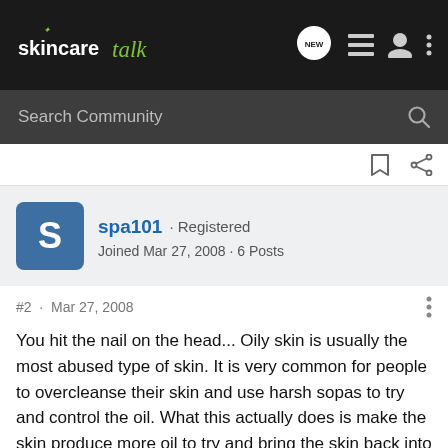skincaretalk — Search Community
spa101 · Registered
Joined Mar 27, 2008 · 6 Posts
#2 · Mar 27, 2008
You hit the nail on the head... Oily skin is usually the most abused type of skin. It is very common for people to overcleanse their skin and use harsh sopas to try and control the oil. What this actually does is make the skin produce more oil to try and bring the skin back into balance. Everyone has skin care challenges- even if you are a guy!
Only cleanse the skin twice daily so that the oil glands are not over stimulated. What kind of cleanser do you use when you